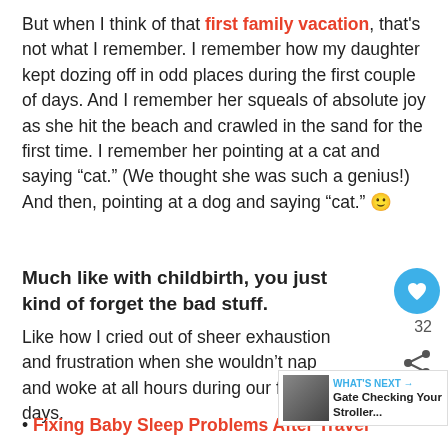But when I think of that first family vacation, that's not what I remember. I remember how my daughter kept dozing off in odd places during the first couple of days. And I remember her squeals of absolute joy as she hit the beach and crawled in the sand for the first time. I remember her pointing at a cat and saying "cat." (We thought she was such a genius!) And then, pointing at a dog and saying "cat." 🙂
Much like with childbirth, you just kind of forget the bad stuff.
Like how I cried out of sheer exhaustion and frustration when she wouldn't nap and woke at all hours during our first few days.
Fixing Baby Sleep Problems After Travel